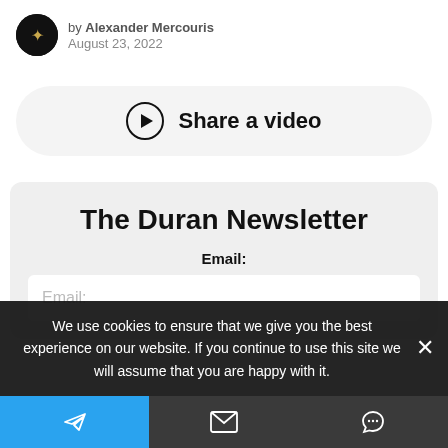by Alexander Mercouris
August 23, 2022
[Figure (other): Share a video button with play icon]
The Duran Newsletter
Email:
Email:
We use cookies to ensure that we give you the best experience on our website. If you continue to use this site we will assume that you are happy with it.
[Figure (other): Bottom navigation bar with Telegram, email, and chat icons]